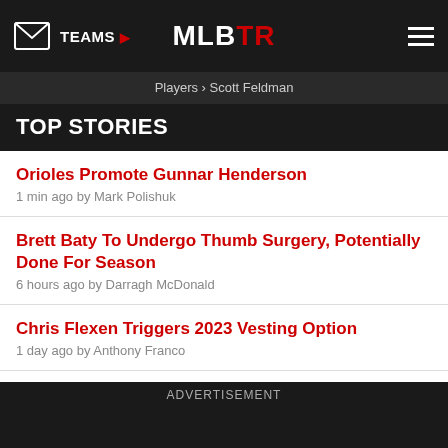TEAMS ▶  MLBTR  ☰
Players › Scott Feldman
TOP STORIES
Orioles Promote Gunnar Henderson
1 min ago by Mark Polishuk
Brett Baty To Undergo Thumb Surgery, Potentially Done For Season
6 hours ago by Darragh McDonald
Chris Flexen Triggers 2023 Vesting Option
1 day ago by Anthony Franco
Diamondbacks Exercise 2023 Club Option On Torey Lovullo
1 day ago by Darragh McDonald
Athletics To Promote Ken Waldichuk
ADVERTISEMENT